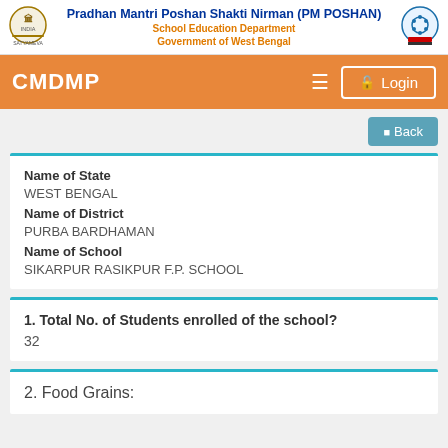Pradhan Mantri Poshan Shakti Nirman (PM POSHAN)
School Education Department
Government of West Bengal
CMDMP
Login
Back
Name of State
WEST BENGAL
Name of District
PURBA BARDHAMAN
Name of School
SIKARPUR RASIKPUR F.P. SCHOOL
1. Total No. of Students enrolled of the school?
32
2. Food Grains: